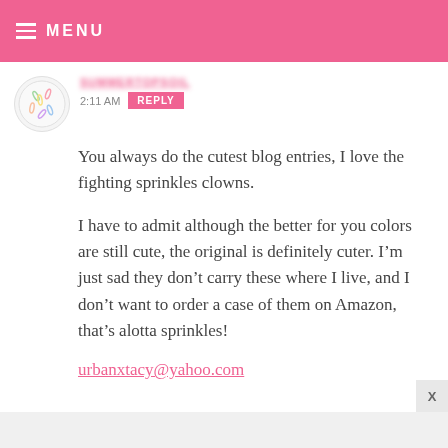MENU
2:11 AM   REPLY
You always do the cutest blog entries, I love the fighting sprinkles clowns.
I have to admit although the better for you colors are still cute, the original is definitely cuter. I’m just sad they don’t carry these where I live, and I don’t want to order a case of them on Amazon, that’s alotta sprinkles!
urbanxtacy@yahoo.com